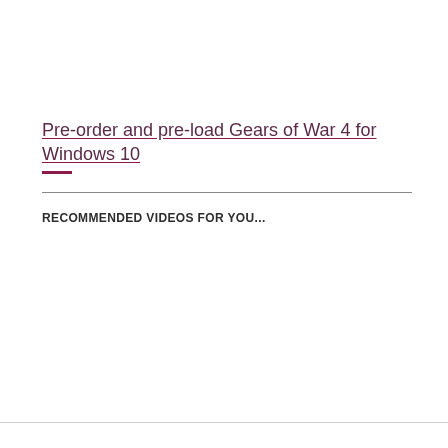Pre-order and pre-load Gears of War 4 for Windows 10
RECOMMENDED VIDEOS FOR YOU...